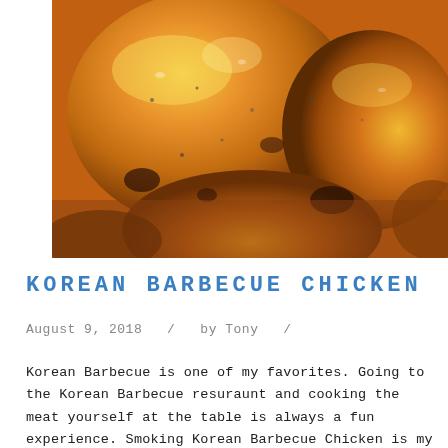[Figure (photo): Close-up photo of Korean Barbecue Chicken pieces with golden-brown glazed skin, glistening with sauce, showing charred spots and seasoning]
KOREAN BARBECUE CHICKEN
August 9, 2018  /  by Tony  /
Korean Barbecue is one of my favorites. Going to the Korean Barbecue resuraunt and cooking the meat yourself at the table is always a fun experience. Smoking Korean Barbecue Chicken is my spin on the classic Korean Barbecue. It's great because you get all those great distinctive flavors of Korean